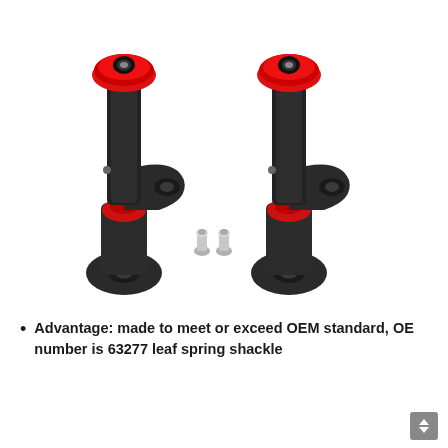[Figure (photo): Two black metal leaf spring shackle brackets with red polyurethane bushings at top and bottom, each with two mounting holes. Two small silver grease fittings shown between the pair of shackles. White background product photo.]
Advantage: made to meet or exceed OEM standard, OE number is 63277 leaf spring shackle